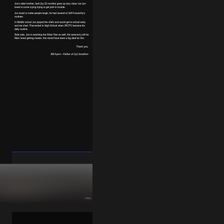Jon's older brother Josh (by 22 months) grew up very close, but Jon loved to come crying trying to get josh in trouble.
Jon loved to make people laugh, he had several of Jeff Foxworthy's routines
In Middle school Jon played the chelo and would get to school early and sta chair. That ended in High School when JROTC became his daily routine.
Side note, Jon is receiving the Silver Star as well, the ceremony will be Mar loved getting metals, this would have been a big deal for him.
Thank you,
Bill Ayers - Father of Cpl Jonathon
©2022,